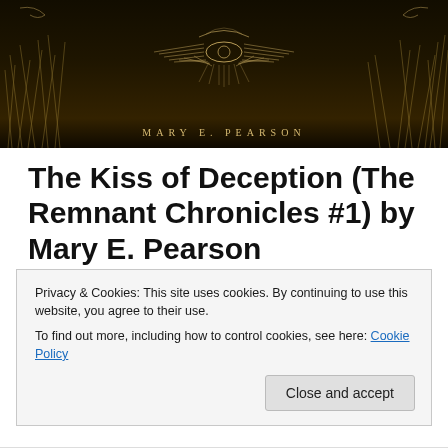[Figure (photo): Book cover image for 'The Kiss of Deception' by Mary E. Pearson. Dark background with golden grass and an ornate emblem/crest. Author name 'MARY E. PEARSON' in spaced letters at the bottom.]
The Kiss of Deception (The Remnant Chronicles #1) by Mary E. Pearson
The Kiss of Deception by Mary E. Pearson My rating: 3.5 of 5 stars Let me be upfront about this. I did not love The Kiss of Deception. I did not hate it. However I feel like
Privacy & Cookies: This site uses cookies. By continuing to use this website, you agree to their use.
To find out more, including how to control cookies, see here: Cookie Policy